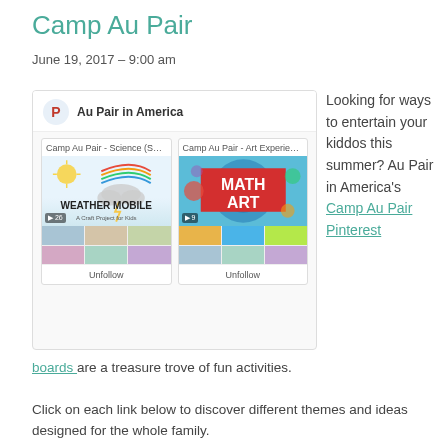Camp Au Pair
June 19, 2017 – 9:00 am
[Figure (screenshot): Pinterest board screenshot showing 'Au Pair in America' account with two boards: 'Camp Au Pair - Science (STEM)' featuring a Weather Mobile craft project, and 'Camp Au Pair - Art Experienc...' featuring Math Art activities, both with Unfollow buttons.]
Looking for ways to entertain your kiddos this summer? Au Pair in America's Camp Au Pair Pinterest boards are a treasure trove of fun activities.
Click on each link below to discover different themes and ideas designed for the whole family.